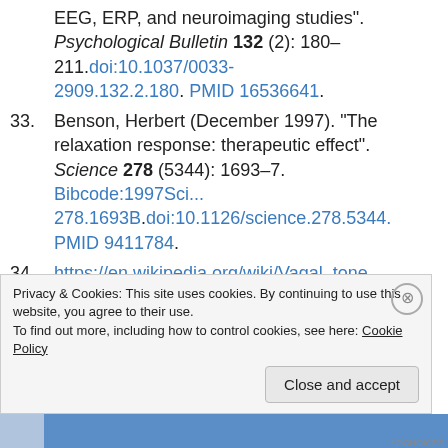EEG, ERP, and neuroimaging studies". Psychological Bulletin 132 (2): 180–211.doi:10.1037/0033-2909.132.2.180. PMID 16536641.
33. Benson, Herbert (December 1997). "The relaxation response: therapeutic effect". Science 278 (5344): 1693–7. Bibcode:1997Sci...278.1693B.doi:10.1126/science.278.5344. PMID 9411784.
34. https://en.wikipedia.org/wiki/Vagal_tone
Privacy & Cookies: This site uses cookies. By continuing to use this website, you agree to their use.
To find out more, including how to control cookies, see here: Cookie Policy